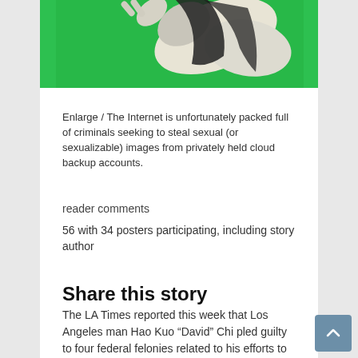[Figure (photo): Photo of mannequin figures against green background, showing torso and arm shapes in cream/white color with black fabric]
Enlarge / The Internet is unfortunately packed full of criminals seeking to steal sexual (or sexualizable) images from privately held cloud backup accounts.
reader comments
56 with 34 posters participating, including story author
Share this story
The LA Times reported this week that Los Angeles man Hao Kuo “David” Chi pled guilty to four federal felonies related to his efforts to